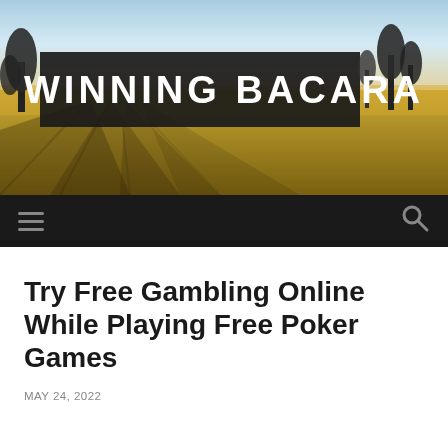[Figure (photo): Outdoor landscape photo with golden field, trees, and sky, overlaid with a dark semi-transparent banner containing the text WINNING BACARA in bold white letters]
WINNING BACARA
Try Free Gambling Online While Playing Free Poker Games
MAY 24, 2022